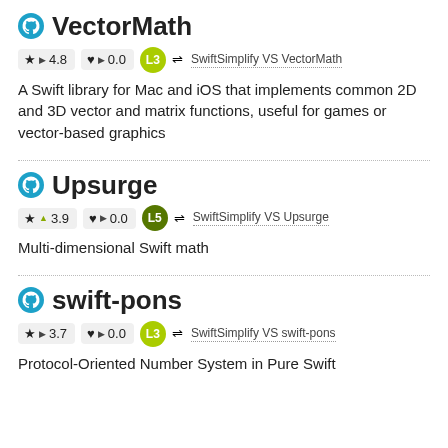VectorMath
★ ▶ 4.8   ♥ ▶ 0.0   L3   ⇌ SwiftSimplify VS VectorMath
A Swift library for Mac and iOS that implements common 2D and 3D vector and matrix functions, useful for games or vector-based graphics
Upsurge
★ ▲ 3.9   ♥ ▶ 0.0   L5   ⇌ SwiftSimplify VS Upsurge
Multi-dimensional Swift math
swift-pons
★ ▶ 3.7   ♥ ▶ 0.0   L3   ⇌ SwiftSimplify VS swift-pons
Protocol-Oriented Number System in Pure Swift